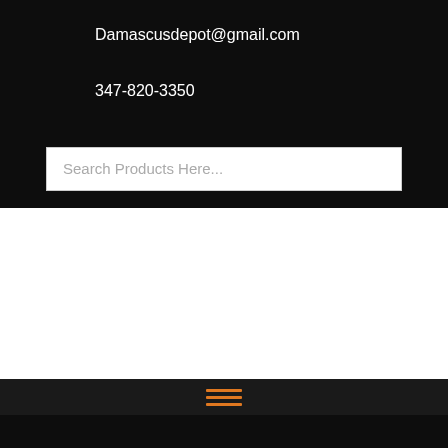Damascusdepot@gmail.com
347-820-3350
Search Products Here...
[Figure (other): Orange shopping cart icon]
[Figure (other): Orange hamburger menu icon (three horizontal lines)]
[Figure (other): Orange hamburger menu icon (three horizontal lines) in bottom navigation bar]